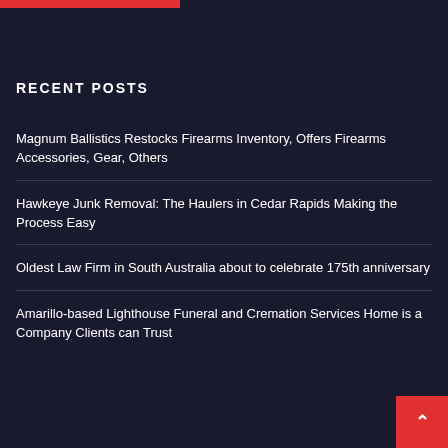RECENT POSTS
Magnum Ballistics Restocks Firearms Inventory, Offers Firearms Accessories, Gear, Others
Hawkeye Junk Removal: The Haulers in Cedar Rapids Making the Process Easy
Oldest Law Firm in South Australia about to celebrate 175th anniversary
Amarillo-based Lighthouse Funeral and Cremation Services Home is a Company Clients can Trust